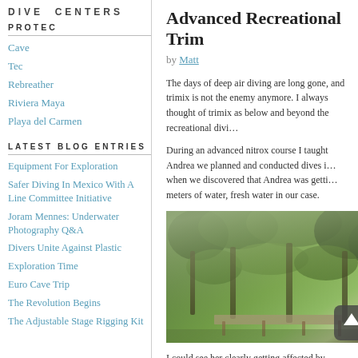DIVE CENTERS
PROTEC
Cave
Tec
Rebreather
Riviera Maya
Playa del Carmen
LATEST BLOG ENTRIES
Equipment For Exploration
Safer Diving In Mexico With A Line Committee Initiative
Joram Mennes: Underwater Photography Q&A
Divers Unite Against Plastic
Exploration Time
Euro Cave Trip
The Revolution Begins
The Adjustable Stage Rigging Kit
Advanced Recreational Trim
by Matt
The days of deep air diving are long gone, and trimix is not the enemy anymore. I always thought of trimix as below and beyond the recreational divi…
During an advanced nitrox course I taught Andrea we planned and conducted dives i… when we discovered that Andrea was getti… meters of water, fresh water in our case.
[Figure (photo): Underwater or jungle cave/cenote scene with lush green vegetation, trees, and a walkway or dock visible, with filtered light coming through the canopy.]
I could see her clearly getting affected by